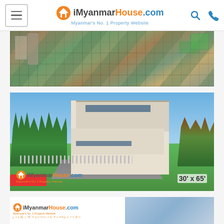iMyanmarHouse.com — Myanmar's No. 1 Property Website
[Figure (photo): Aerial view of urban area in Myanmar showing buildings, roads, and green spaces from above]
[Figure (illustration): 3D architectural rendering of a modern two-story house with garden, fence, and driveway. Logo overlay 'iMyanmarHouse.com' and dimension text '30' x 65']
[Figure (photo): Partial view of another property listing with iMyanmarHouse.com logo and building exterior]